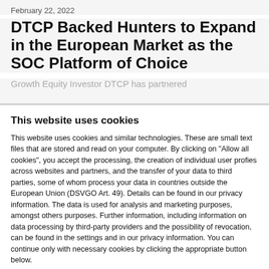February 22, 2022
DTCP Backed Hunters to Expand in the European Market as the SOC Platform of Choice
Growth Equity Investor DTCP has partnered
This website uses cookies
This website uses cookies and similar technologies. These are small text files that are stored and read on your computer. By clicking on "Allow all cookies", you accept the processing, the creation of individual user profies across websites and partners, and the transfer of your data to third parties, some of whom process your data in countries outside the European Union (DSVGO Art. 49). Details can be found in our privacy information. The data is used for analysis and marketing purposes, amongst others purposes. Further information, including information on data processing by third-party providers and the possibility of revocation, can be found in the settings and in our privacy information. You can continue only with necessary cookies by clicking the appropriate button below.
Use necessary cookies only | Allow all cookies
Show details